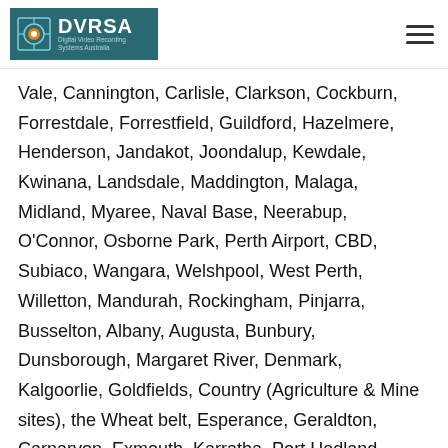DVRSA Digital Video Recording Systems Australia
Vale, Cannington, Carlisle, Clarkson, Cockburn, Forrestdale, Forrestfield, Guildford, Hazelmere, Henderson, Jandakot, Joondalup, Kewdale, Kwinana, Landsdale, Maddington, Malaga, Midland, Myaree, Naval Base, Neerabup, O'Connor, Osborne Park, Perth Airport, CBD, Subiaco, Wangara, Welshpool, West Perth, Willetton, Mandurah, Rockingham, Pinjarra, Busselton, Albany, Augusta, Bunbury, Dunsborough, Margaret River, Denmark, Kalgoorlie, Goldfields, Country (Agriculture & Mine sites), the Wheat belt, Esperance, Geraldton, Carnarvon, Exmouth, Karratha, Port Hedland, Broome, Tom Price, Newman and throughout the following Shires of Ashburton, Augusta-Margaret River, Beverley